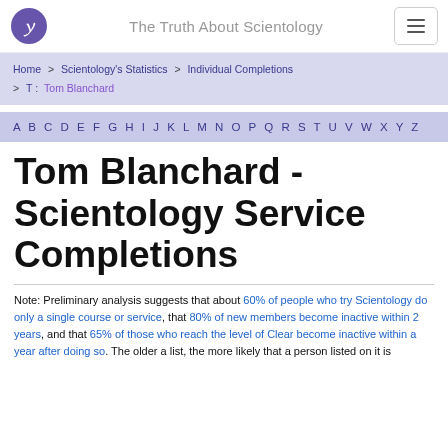The Truth About Scientology
Home > Scientology's Statistics > Individual Completions > T : Tom Blanchard
A B C D E F G H I J K L M N O P Q R S T U V W X Y Z
Tom Blanchard - Scientology Service Completions
Note: Preliminary analysis suggests that about 60% of people who try Scientology do only a single course or service, that 80% of new members become inactive within 2 years, and that 65% of those who reach the level of Clear become inactive within a year after doing so. The older a list, the more likely that a person listed on it is